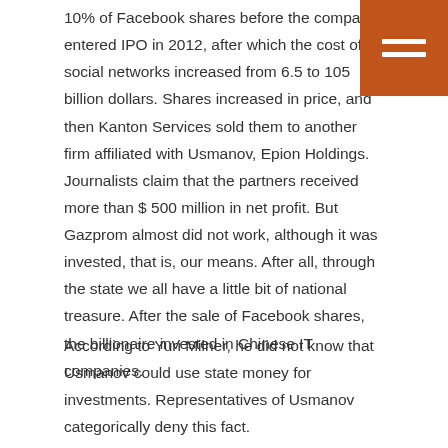10% of Facebook shares before the company entered IPO in 2012, after which the cost of social networks increased from 6.5 to 105 billion dollars. Shares increased in price, and then Kanton Services sold them to another firm affiliated with Usmanov, Epion Holdings. Journalists claim that the partners received more than $ 500 million in net profit. But Gazprom almost did not work, although it was invested, that is, our means. After all, through the state we all have a little bit of national treasure. After the sale of Facebook shares, the billionaire invested in Chinese IT companies.
According to Yuri Milner, he did not know that Usmanov could use state money for investments. Representatives of Usmanov categorically deny this fact.